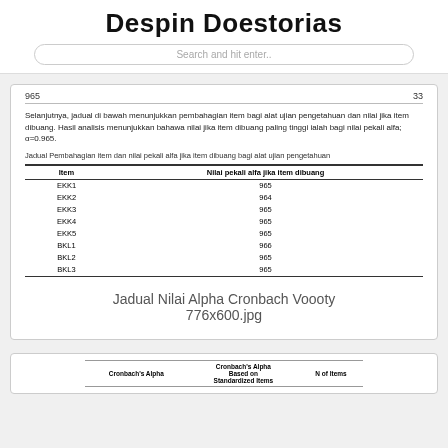Despin Doestorias
Search and hit enter..
965	33
Selanjutnya, jadual di bawah menunjukkan pembahagian item bagi alat ujian pengetahuan dan nilai jika item dibuang. Hasil analisis menunjukkan bahawa nilai jika item dibuang paling tinggi ialah bagi nilai pekali alfa; α=0.965.
Jadual Pembahagian item dan nilai pekali alfa jika item dibuang bagi alat ujian pengetahuan
| Item | Nilai pekali alfa jika item dibuang |
| --- | --- |
| EKK1 | 965 |
| EKK2 | 964 |
| EKK3 | 965 |
| EKK4 | 965 |
| EKK5 | 965 |
| BKL1 | 966 |
| BKL2 | 965 |
| BKL3 | 965 |
[Figure (other): Jadual Nilai Alpha Cronbach Voooty 776x600.jpg placeholder]
| Cronbach's Alpha | Cronbach's Alpha Based on Standardized Items | N of Items |
| --- | --- | --- |